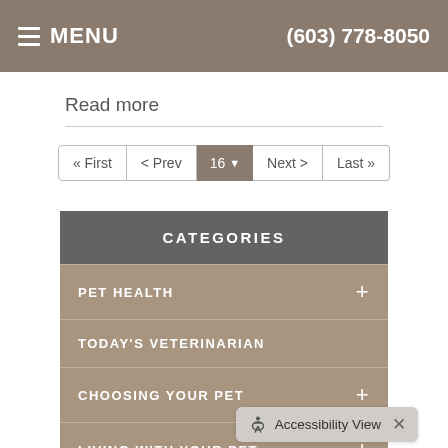MENU  (603) 778-8050
Read more
« First  < Prev  16  Next >  Last »
CATEGORIES
PET HEALTH +
TODAY'S VETERINARIAN
CHOOSING YOUR PET +
LIVING WITH YOUR PET +
NEWSLETTER LIBRARY +
Accessibility View ×